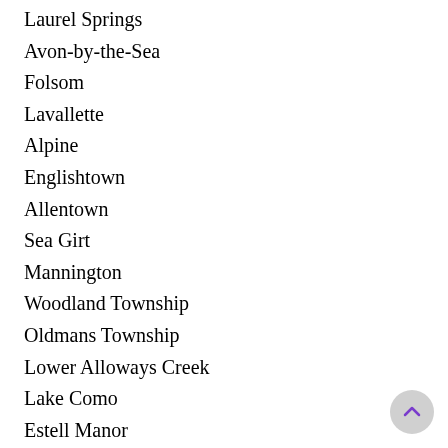Laurel Springs
Avon-by-the-Sea
Folsom
Lavallette
Alpine
Englishtown
Allentown
Sea Girt
Mannington
Woodland Township
Oldmans Township
Lower Alloways Creek
Lake Como
Estell Manor
Glen Gardner